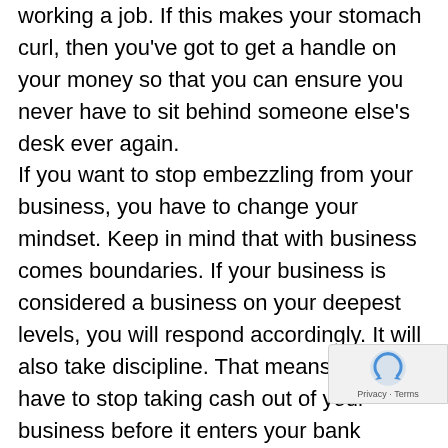working a job. If this makes your stomach curl, then you've got to get a handle on your money so that you can ensure you never have to sit behind someone else's desk ever again. If you want to stop embezzling from your business, you have to change your mindset. Keep in mind that with business comes boundaries. If your business is considered a business on your deepest levels, you will respond accordingly. It will also take discipline. That means, you will have to stop taking cash out of your business before it enters your bank account. While I am happy to suggest that you pay yourself, I do recommend that you pay yourself in an authentic fashion, via your business checking account, so that you have a record of the salary you are paying yo… I am happy to report that as soon as you shift yo… mindset and you also create a few key financial